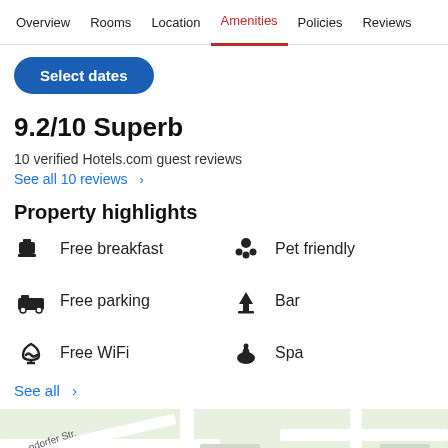Overview  Rooms  Location  Amenities  Policies  Reviews
Select dates
9.2/10 Superb
10 verified Hotels.com guest reviews
See all 10 reviews >
Property highlights
Free breakfast
Pet friendly
Free parking
Bar
Free WiFi
Spa
See all >
[Figure (map): Street map showing local area with roads and greenery, partial street label 'ndorfer Str.']